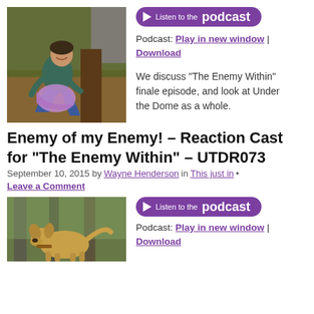[Figure (photo): Man crouching outdoors picking up a purple/lavender bag on a bed of wood chips or dirt, smiling, wearing a grey t-shirt and blue jeans]
[Figure (other): Purple pill-shaped button with play icon reading 'Listen to the podcast']
Podcast: Play in new window | Download
We discuss “The Enemy Within” finale episode, and look at Under the Dome as a whole.
Enemy of my Enemy! – Reaction Cast for “The Enemy Within” – UTDR073
September 10, 2015 by Wayne Henderson in This just in • Leave a Comment
[Figure (photo): A golden/tan dog standing in a wooded outdoor setting with green/grey tree trunks in background]
[Figure (other): Purple pill-shaped button with play icon reading 'Listen to the podcast']
Podcast: Play in new window | Download